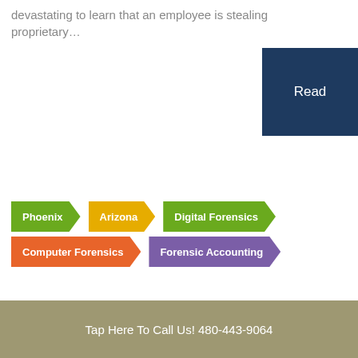devastating to learn that an employee is stealing proprietary…
Read
Phoenix
Arizona
Digital Forensics
Computer Forensics
Forensic Accounting
Tap Here To Call Us! 480-443-9064